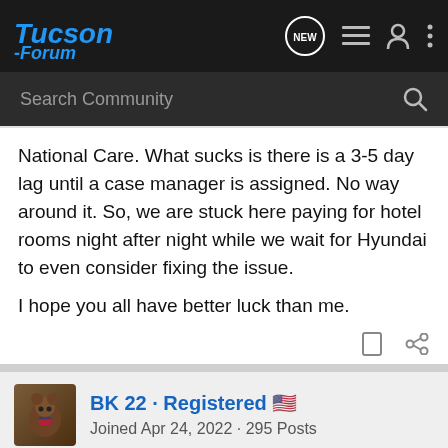Tucson-Forum
National Care. What sucks is there is a 3-5 day lag until a case manager is assigned. No way around it. So, we are stuck here paying for hotel rooms night after night while we wait for Hyundai to even consider fixing the issue.

I hope you all have better luck than me.
BK 22 · Registered 🇺🇸
Joined Apr 24, 2022 · 295 Posts
#16 · Ju...
[Figure (screenshot): Nitto Tires ALL-NEW NOMAD GRAPPLER CROSSOVER-TERRAIN TIRE advertisement banner]